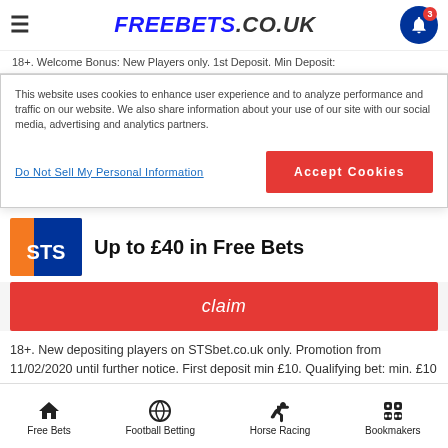FREEBETS.CO.UK
18+. Welcome Bonus: New Players only. 1st Deposit. Min Deposit:
This website uses cookies to enhance user experience and to analyze performance and traffic on our website. We also share information about your use of our site with our social media, advertising and analytics partners.
Do Not Sell My Personal Information
Accept Cookies
Up to £40 in Free Bets
claim
18+. New depositing players on STSbet.co.uk only. Promotion from 11/02/2020 until further notice. First deposit min £10. Qualifying bet: min. £10 accumulator bet with at least two selections with min odds of 1/2 (1.50) per selection. Bonus: 50% of the amount of the first bet. Max. bonus £40. Min. 6x wagering with bonus on min odds of 1/2 (1.50) before withdrawal. Deposit method restrictions. Bonus valid
Free Bets | Football Betting | Horse Racing | Bookmakers